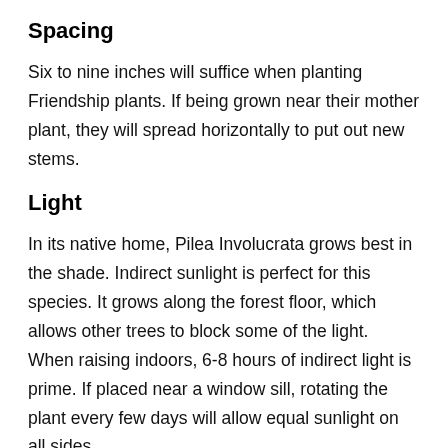Spacing
Six to nine inches will suffice when planting Friendship plants. If being grown near their mother plant, they will spread horizontally to put out new stems.
Light
In its native home, Pilea Involucrata grows best in the shade. Indirect sunlight is perfect for this species. It grows along the forest floor, which allows other trees to block some of the light. When raising indoors, 6-8 hours of indirect light is prime. If placed near a window sill, rotating the plant every few days will allow equal sunlight on all sides.